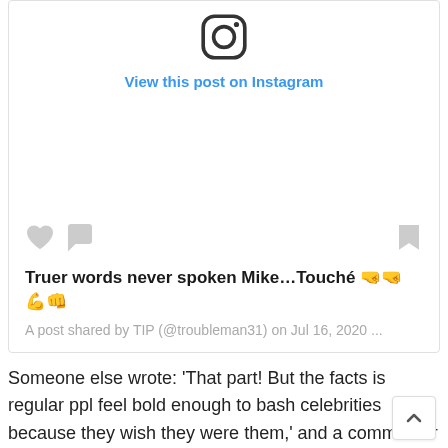[Figure (screenshot): Instagram embed card showing logo, 'View this post on Instagram' link, action icons (heart, bubble, bookmark), caption text with emojis, and post metadata.]
Truer words never spoken Mike…Touché 🤜🤜🤜🤜
A post shared by TIP (@troubleman31) on Jul 16, 2020 ...
Someone else wrote: 'That part! But the facts is regular ppl feel bold enough to bash celebrities because they wish they were them,' and a commenter posted this: 'If anybody knows about getting punched in the face for acting tuff its definitely t.i.'